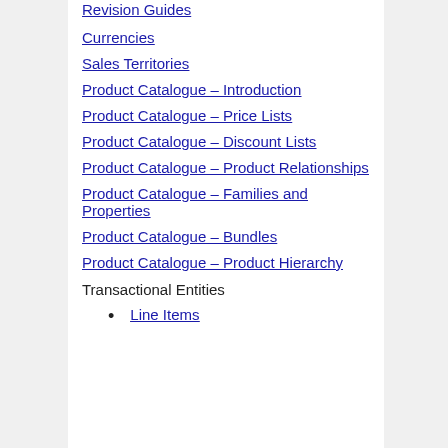Revision Guides
Currencies
Sales Territories
Product Catalogue – Introduction
Product Catalogue – Price Lists
Product Catalogue – Discount Lists
Product Catalogue – Product Relationships
Product Catalogue – Families and Properties
Product Catalogue – Bundles
Product Catalogue – Product Hierarchy
Transactional Entities
Line Items